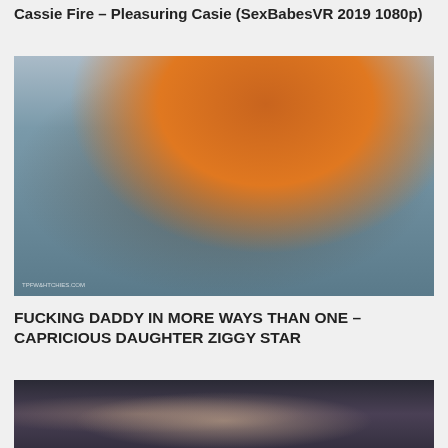Cassie Fire – Pleasuring Casie (SexBabesVR 2019 1080p)
[Figure (photo): Photo of two people on a bed with animal print bedding, tiger painting on wall in background. Watermark visible at bottom left.]
FUCKING DADDY IN MORE WAYS THAN ONE – CAPRICIOUS DAUGHTER ZIGGY STAR
[Figure (photo): Photo of a person wearing a mask, partially visible, dark background.]